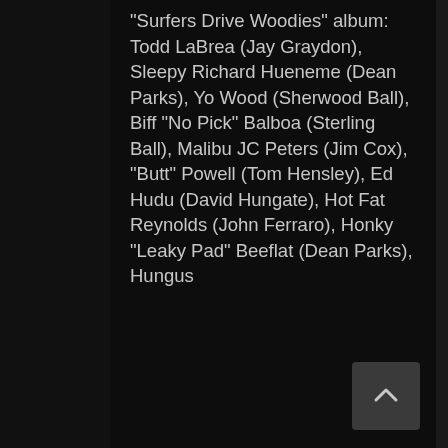"Surfers Drive Woodies" album: Todd LaBrea (Jay Graydon), Sleepy Richard Hueneme (Dean Parks), Yo Wood (Sherwood Ball), Biff "No Pick" Balboa (Sterling Ball), Malibu JC Peters (Jim Cox), "Butt" Powell (Tom Hensley), Ed Hudu (David Hungate), Hot Fat Reynolds (John Ferraro), Honky "Leaky Pad" Beeflat (Dean Parks), Hungus